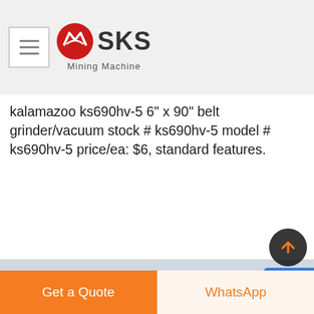SKS Mining Machine
kalamazoo ks690hv-5 6" x 90" belt grinder/vacuum stock # ks690hv-5 model # ks690hv-5 price/ea: $6, standard features.
[Figure (photo): Large industrial mining crushing/screening machine mounted on a wheeled platform, photographed outdoors with trees and a building visible in background. Machine is dark grey/black in color.]
Free chat
Get a Quote
WhatsApp